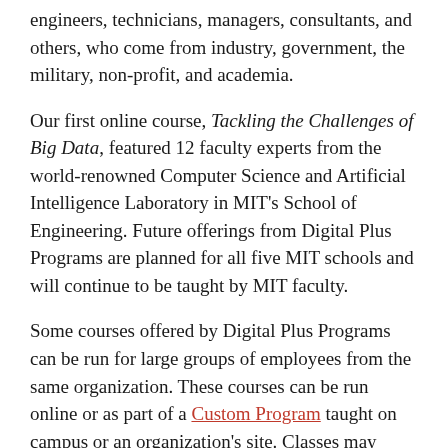engineers, technicians, managers, consultants, and others, who come from industry, government, the military, non-profit, and academia.
Our first online course, Tackling the Challenges of Big Data, featured 12 faculty experts from the world-renowned Computer Science and Artificial Intelligence Laboratory in MIT's School of Engineering. Future offerings from Digital Plus Programs are planned for all five MIT schools and will continue to be taught by MIT faculty.
Some courses offered by Digital Plus Programs can be run for large groups of employees from the same organization. These courses can be run online or as part of a Custom Program taught on campus or an organization's site. Classes may involve video lectures, discussion boards, readings, interactive problem-solving, or case study/laboratory work.